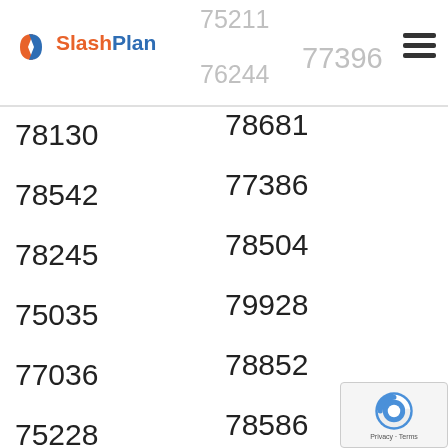SlashPlan
75211
76244
77396
78681
78130
77386
78542
78504
78245
79928
75035
78852
77036
78586
75228
77015
77450
75149
76063
75098
77459
78223
78641